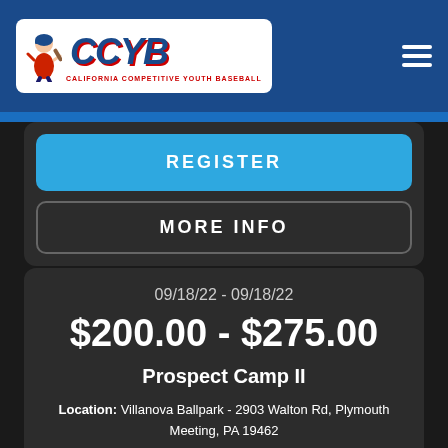[Figure (logo): CCYB California Competitive Youth Baseball logo with cartoon baseball player]
REGISTER
MORE INFO
09/18/22 - 09/18/22
$200.00 - $275.00
Prospect Camp II
Location: Villanova Ballpark - 2903 Walton Rd, Plymouth Meeting, PA 19462